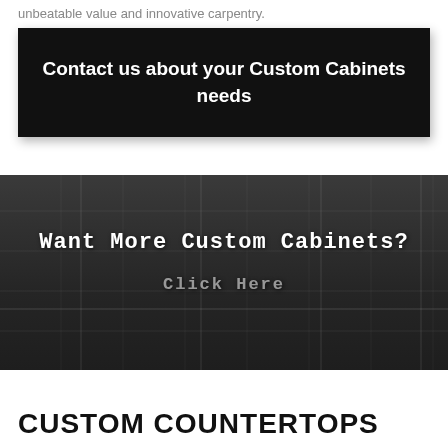unbeatable value and innovative carpentry.
Contact us about your Custom Cabinets needs
[Figure (photo): Dark banner with background photo of custom cabinets/shelving in a dark room, containing text 'Want More Custom Cabinets?' and 'Click Here']
CUSTOM COUNTERTOPS